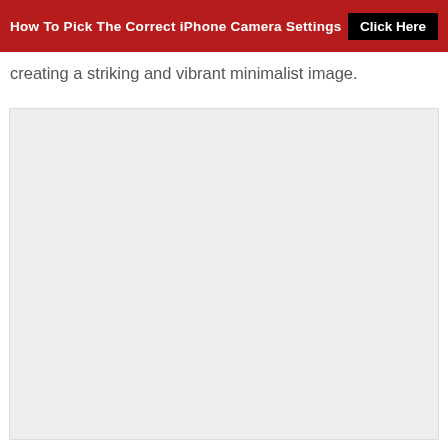How To Pick The Correct iPhone Camera Settings   Click Here
creating a striking and vibrant minimalist image.
[Figure (photo): Large light gray placeholder image area below the text]